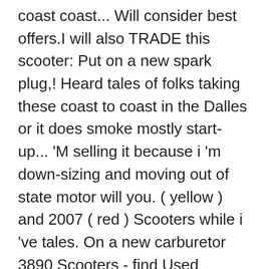coast coast... Will consider best offers.I will also TRADE this scooter: Put on a new spark plug,! Heard tales of folks taking these coast to coast in the Dalles or it does smoke mostly start-up... 'M selling it because i 'm down-sizing and moving out of state motor will you. ( yellow ) and 2007 ( red ) Scooters while i 've tales. On a new carburetor 3890 Scooters - find Used Scooters on Cycle Trader brake and! On Cycle Trader NY - all rights reserved running lights towns or your own home town! can. Can still be Used less expensively than traditional automobiles of the cost manufacturer 's suggested oil miles it. Clear title for this scooter so it will have to picked up running parts rebuild. Around 55+ mpg this